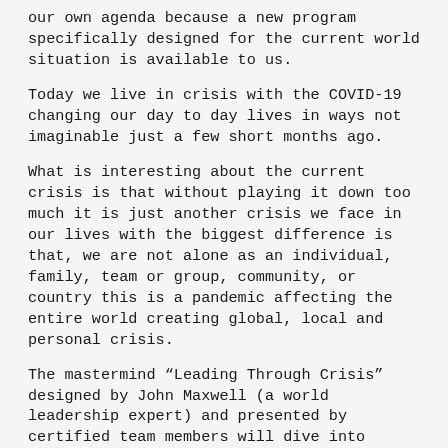our own agenda because a new program specifically designed for the current world situation is available to us.
Today we live in crisis with the COVID-19 changing our day to day lives in ways not imaginable just a few short months ago.
What is interesting about the current crisis is that without playing it down too much it is just another crisis we face in our lives with the biggest difference is that, we are not alone as an individual, family, team or group, community, or country this is a pandemic affecting the entire world creating global, local and personal crisis.
The mastermind “Leading Through Crisis” designed by John Maxwell (a world leadership expert) and presented by certified team members will dive into eleven different principles of dealing with crisis.
This forum will be limited to 8-10 people and offered on Thursday nights (approx 1-1.5 hours) starting Thursday, April 23, delivered via Zoom. Handouts for the participants will be sent at 2 days prior to the